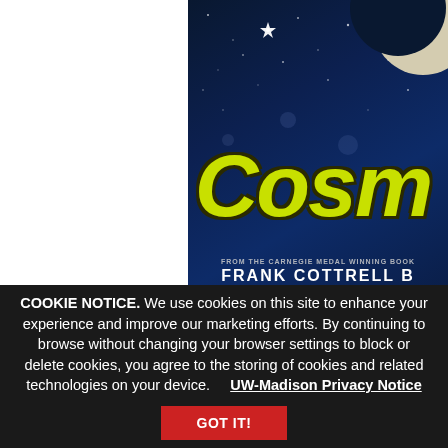[Figure (photo): Partial view of a book cover showing the word 'Cosm' in large yellow-green text against a dark blue night sky with moon and stars. Below the title text are smaller white text lines reading 'FROM THE CARNEGIE MEDAL WINNING BOOK' and 'FRANK COTTRELL B' (cut off). The left portion of the image is white.]
COOKIE NOTICE. We use cookies on this site to enhance your experience and improve our marketing efforts. By continuing to browse without changing your browser settings to block or delete cookies, you agree to the storing of cookies and related technologies on your device.     UW-Madison Privacy Notice
GOT IT!